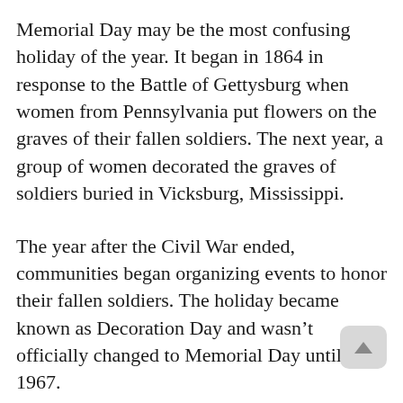Memorial Day may be the most confusing holiday of the year. It began in 1864 in response to the Battle of Gettysburg when women from Pennsylvania put flowers on the graves of their fallen soldiers. The next year, a group of women decorated the graves of soldiers buried in Vicksburg, Mississippi.
The year after the Civil War ended, communities began organizing events to honor their fallen soldiers. The holiday became known as Decoration Day and wasn't officially changed to Memorial Day until 1967.
As the son and grandson of military veterans, I know something of the sacrifices so many men and women have made to preserve our freedom. On this day we remember with gratitude the 1.1 million soldiers from